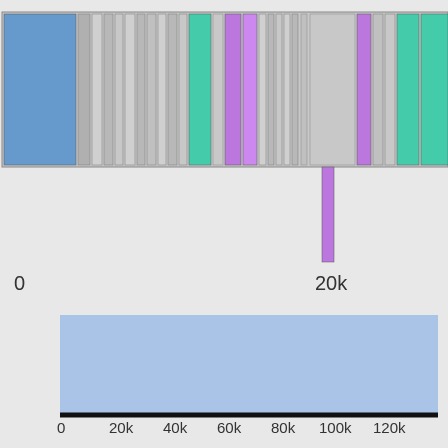[Figure (other): Two genomic/sequence visualization panels. Top panel: a horizontal segmented bar showing colored blocks (blue, gray, purple, teal/green) with a vertical purple bar hanging below around position 20k. Bottom panel: a single wide light-blue horizontal bar spanning roughly 0 to 130k with a black axis line. X-axis labels: 0, 20k for top; 0, 20k, 40k, 60k, 80k, 100k, 120k for bottom.]